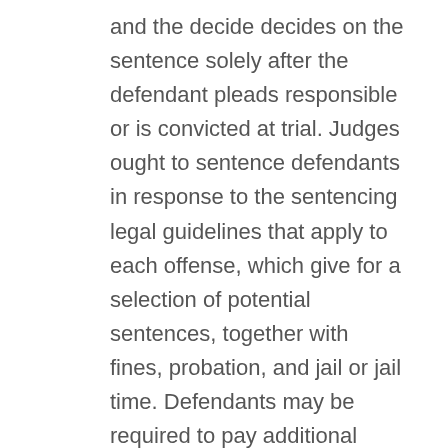and the decide decides on the sentence solely after the defendant pleads responsible or is convicted at trial. Judges ought to sentence defendants in response to the sentencing legal guidelines that apply to each offense, which give for a selection of potential sentences, together with fines, probation, and jail or jail time. Defendants may be required to pay additional money, harking back to for court docket costs and restitution to a sufferer. The sentencing decisions that apply to your case rely on the severity of the offense (with some essential variations between felonies and misdemeanors) and your prior authorized report. You can discover the current sentencing charts for many jail offenses proper right here. Particular